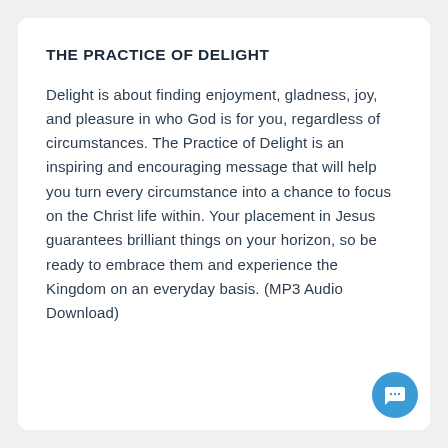THE PRACTICE OF DELIGHT
Delight is about finding enjoyment, gladness, joy, and pleasure in who God is for you, regardless of circumstances. The Practice of Delight is an inspiring and encouraging message that will help you turn every circumstance into a chance to focus on the Christ life within. Your placement in Jesus guarantees brilliant things on your horizon, so be ready to embrace them and experience the Kingdom on an everyday basis. (MP3 Audio Download)